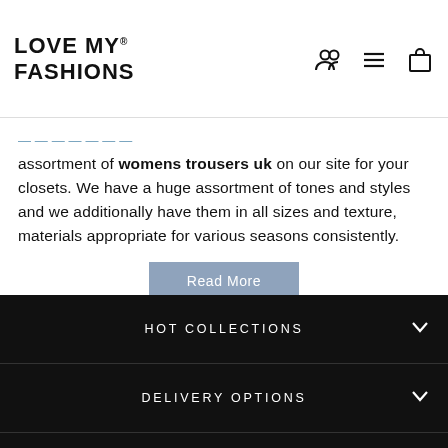LOVE MY® FASHIONS
assortment of womens trousers uk on our site for your closets. We have a huge assortment of tones and styles and we additionally have them in all sizes and texture, materials appropriate for various seasons consistently.
Read More
HOT COLLECTIONS
DELIVERY OPTIONS
ABOUT US
HELP
FIND US ON